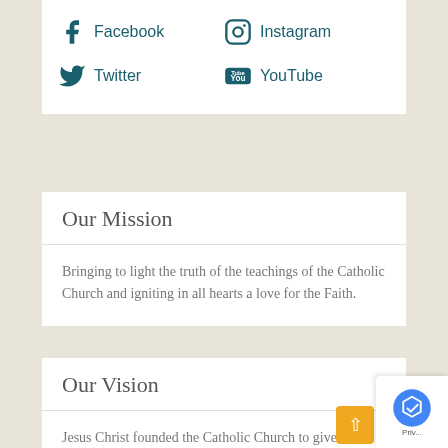[Figure (other): Social media links: Facebook, Instagram, Twitter, YouTube icons with labels in teal color]
Our Mission
Bringing to light the truth of the teachings of the Catholic Church and igniting in all hearts a love for the Faith.
Our Vision
Jesus Christ founded the Catholic Church to give His Grace to all people.We continue His Mission to spread the Good News of God's Love. Our hope